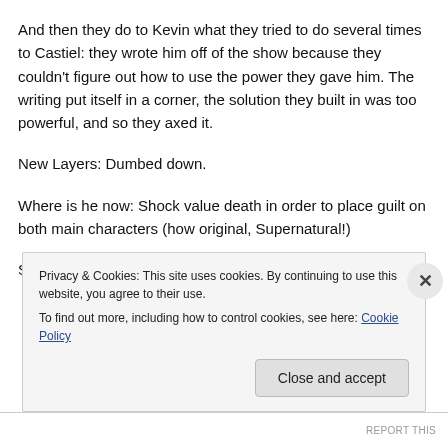And then they do to Kevin what they tried to do several times to Castiel: they wrote him off of the show because they couldn't figure out how to use the power they gave him. The writing put itself in a corner, the solution they built in was too powerful, and so they axed it.
New Layers: Dumbed down.
Where is he now: Shock value death in order to place guilt on both main characters (how original, Supernatural!)
Sour is a now b...
Privacy & Cookies: This site uses cookies. By continuing to use this website, you agree to their use.
To find out more, including how to control cookies, see here: Cookie Policy
Close and accept